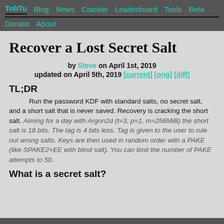TobTu  Blog  News  Cracker  Leaderboard  Tools  Beta  Donate  About
Recover a Lost Secret Salt
by Steve on April 1st, 2019
updated on April 5th, 2019 [current] [orig] [diff]
TL;DR
Run the password KDF with standard salts, no secret salt, and a short salt that is never saved. Recovery is cracking the short salt. Aiming for a day with Argon2d (t=3, p=1, m=256MiB) the short salt is 18 bits. The tag is 4 bits less. Tag is given to the user to rule out wrong salts. Keys are then used in random order with a PAKE (like SPAKE2+EE with blind salt). You can limit the number of PAKE attempts to 50.
What is a secret salt?